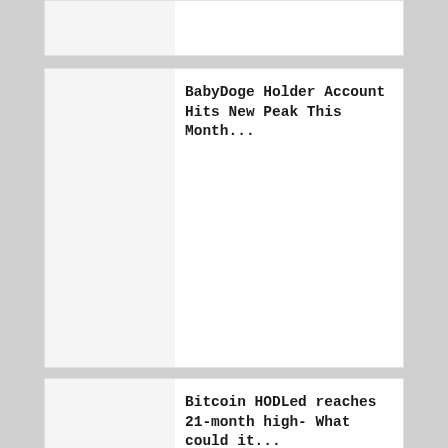BabyDoge Holder Account Hits New Peak This Month...
Bitcoin HODLed reaches 21-month high- What could it...
Ripple's land project in Colombia stalls as the...